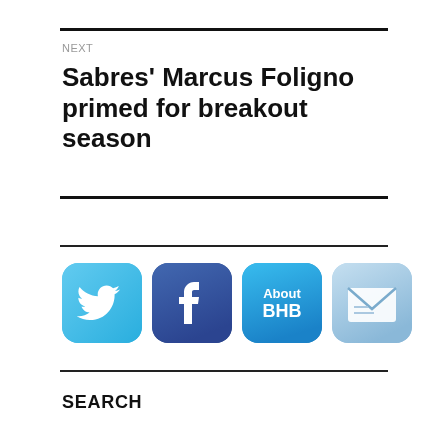NEXT
Sabres' Marcus Foligno primed for breakout season
[Figure (infographic): Four social media / app icon buttons in a row: Twitter bird icon (light blue rounded square), Facebook 'f' icon (dark blue rounded square), About BHB text button (medium blue rounded square), Email envelope icon (light blue/grey rounded square).]
SEARCH